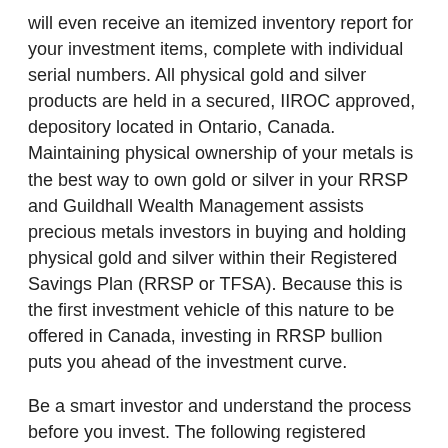will even receive an itemized inventory report for your investment items, complete with individual serial numbers. All physical gold and silver products are held in a secured, IIROC approved, depository located in Ontario, Canada. Maintaining physical ownership of your metals is the best way to own gold or silver in your RRSP and Guildhall Wealth Management assists precious metals investors in buying and holding physical gold and silver within their Registered Savings Plan (RRSP or TFSA). Because this is the first investment vehicle of this nature to be offered in Canada, investing in RRSP bullion puts you ahead of the investment curve.
Be a smart investor and understand the process before you invest. The following registered savings plan account classes are eligible to hold physical bullion:
RESP – individual and family registered education savings plan
LIF    – life income fund,